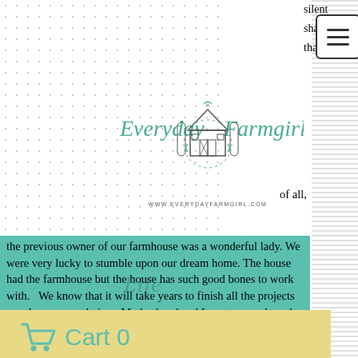[Figure (logo): Everyday Farmgirl logo with barn illustration and script text, URL www.everydayfarmgirl.com]
silent share that I of all, the previous owner of our farmhouse was a wonderful lady. We were very lucky to stumble upon our dream home. The house had the farmhouse but the house has such good bones to work with.   We know that it will take years to finish all the projects we plan on completing.  My husband and I spent several weeks painting prior to moving in to our farmhouse. Paint color is a challenge.  I knew I wanted a farmhouse gray but I quickly found out that a simple gray
[Figure (other): Shopping cart icon with Cart 0 label overlay banner in yellow/tan color]